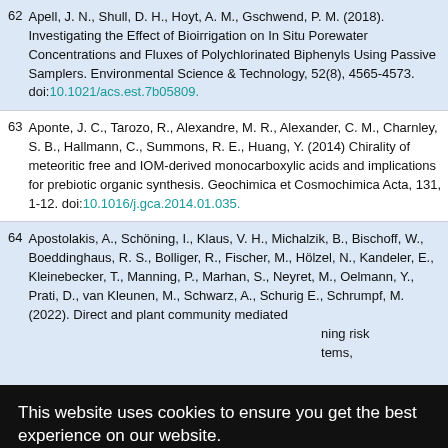62 Apell, J. N., Shull, D. H., Hoyt, A. M., Gschwend, P. M. (2018). Investigating the Effect of Bioirrigation on In Situ Porewater Concentrations and Fluxes of Polychlorinated Biphenyls Using Passive Samplers. Environmental Science & Technology, 52(8), 4565-4573. doi:10.1021/acs.est.7b05809.
63 Aponte, J. C., Tarozo, R., Alexandre, M. R., Alexander, C. M., Charnley, S. B., Hallmann, C., Summons, R. E., Huang, Y. (2014) Chirality of meteoritic free and IOM-derived monocarboxylic acids and implications for prebiotic organic synthesis. Geochimica et Cosmochimica Acta, 131, 1-12. doi:10.1016/j.gca.2014.01.035.
64 Apostolakis, A., Schöning, I., Klaus, V. H., Michalzik, B., Bischoff, W., Boeddinghaus, R. S., Bolliger, R., Fischer, M., Hölzel, N., Kandeler, E., Kleinebecker, T., Manning, P., Marhan, S., Neyret, M., Oelmann, Y., Prati, D., van Kleunen, M., Schwarz, A., Schurig E., Schrumpf, M. (2022). Direct and plant community mediated [effects on] ...ning risk ...tems,
65 [partial - obscured by cookie banner] R., ...spiration ...asslands
66 Aravena, R., Schiff, S. L., Trumbore, S. E., Dillon, P. J., Elgood, R. (1993). Evaluating dissolved inorganic carbon cycling in a...